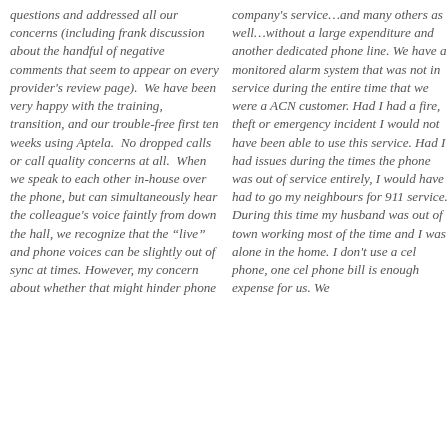questions and addressed all our concerns (including frank discussion about the handful of negative comments that seem to appear on every provider's review page).  We have been very happy with the training, transition, and our trouble-free first ten weeks using Aptela.  No dropped calls or call quality concerns at all.  When we speak to each other in-house over the phone, but can simultaneously hear the colleague's voice faintly from down the hall, we recognize that the "live" and phone voices can be slightly out of sync at times. However, my concern about whether that might hinder phone
company's service…and many others as well…without a large expenditure and another dedicated phone line. We have a monitored alarm system that was not in service during the entire time that we were a ACN customer. Had I had a fire, theft or emergency incident I would not have been able to use this service. Had I had issues during the times the phone was out of service entirely, I would have had to go my neighbours for 911 service. During this time my husband was out of town working most of the time and I was alone in the home. I don't use a cel phone, one cel phone bill is enough expense for us. We